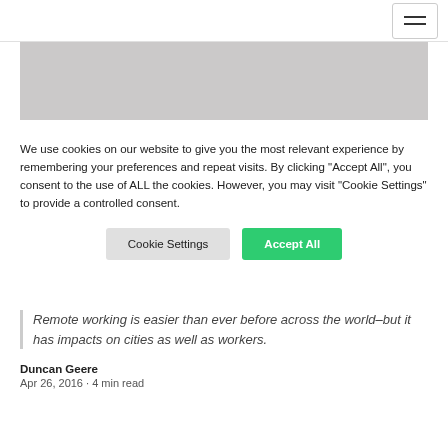[Navigation bar with hamburger menu]
[Figure (photo): Hero image area, partially visible, showing a light gray/beige background]
We use cookies on our website to give you the most relevant experience by remembering your preferences and repeat visits. By clicking “Accept All”, you consent to the use of ALL the cookies. However, you may visit "Cookie Settings" to provide a controlled consent.
Cookie Settings | Accept All
Remote working is easier than ever before across the world–but it has impacts on cities as well as workers.
Duncan Geere
Apr 26, 2016 · 4 min read